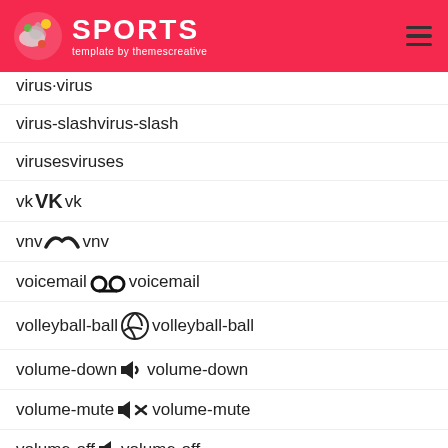SPORTS template by themescreative
virus-slashvirus-slash
virusesviruses
vk [VK icon] vk
vnv [vnv icon] vnv
voicemail [voicemail icon] voicemail
volleyball-ball [volleyball icon] volleyball-ball
volume-down [volume-down icon] volume-down
volume-mute [volume-mute icon] volume-mute
volume-off [volume-off icon] volume-off